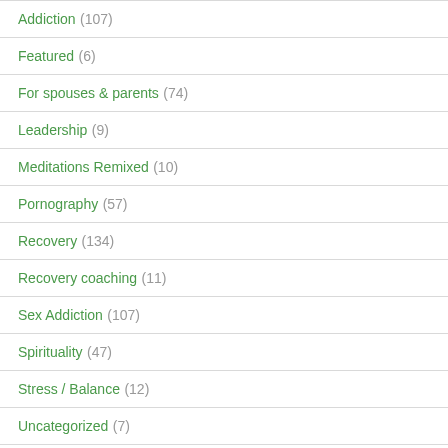Addiction (107)
Featured (6)
For spouses & parents (74)
Leadership (9)
Meditations Remixed (10)
Pornography (57)
Recovery (134)
Recovery coaching (11)
Sex Addiction (107)
Spirituality (47)
Stress / Balance (12)
Uncategorized (7)